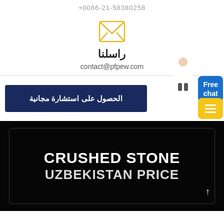+0086-21-58380238
[Figure (illustration): Yellow envelope / email icon]
راسلنا
contact@pfpew.com
الحصول على استشارة مجانية
[Figure (illustration): Free chat button (blue) and yellow menu button overlay on right side]
CRUSHED STONE
UZBEKISTAN PRICE